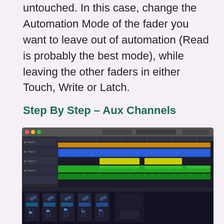untouched. In this case, change the Automation Mode of the fader you want to leave out of automation (Read is probably the best mode), while leaving the other faders in either Touch, Write or Latch.
Step By Step – Aux Channels
[Figure (screenshot): Screenshot of a DAW (Digital Audio Workstation) showing multiple audio tracks in the timeline view. Tracks include orange, blue, yellow, and green colored regions representing different audio channels. Below the timeline is a partial view of a mixer/channel strip panel.]